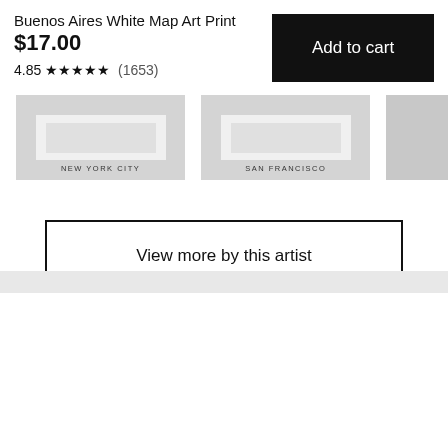Buenos Aires White Map Art Print
$17.00
4.85 ★★★★★ (1653)
[Figure (screenshot): Two art print thumbnail images: New York City map and San Francisco map, plus a partial third thumbnail]
View more by this artist